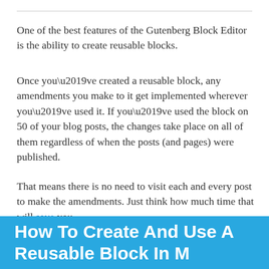One of the best features of the Gutenberg Block Editor is the ability to create reusable blocks.
Once you’ve created a reusable block, any amendments you make to it get implemented wherever you’ve used it. If you’ve used the block on 50 of your blog posts, the changes take place on all of them regardless of when the posts (and pages) were published.
That means there is no need to visit each and every post to make the amendments. Just think how much time that will save you.
How To Create And Use A Reusable Block In M...